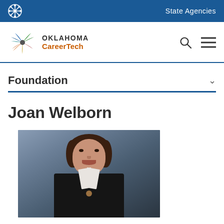State Agencies
[Figure (logo): Oklahoma CareerTech logo with colorful pinwheel/gear icon and text OKLAHOMA CareerTech]
Foundation
Joan Welborn
[Figure (photo): Professional headshot photo of Joan Welborn, a woman with short brown hair wearing a dark jacket and white collared shirt, smiling, with a blue-gray background]